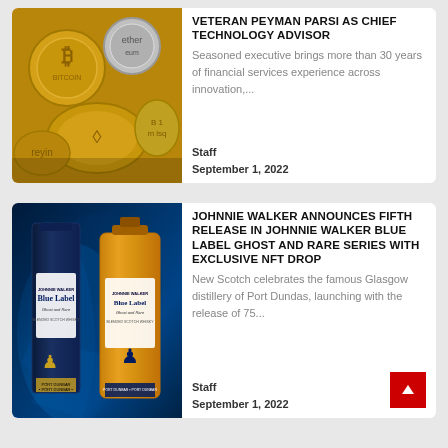[Figure (photo): Pile of gold and silver cryptocurrency coins including Bitcoin and Ethereum]
VETERAN PEYMAN PARSI AS CHIEF TECHNOLOGY ADVISOR
Seasoned executive brings more than 30 years of financial services experience across innovation,...
Staff
September 1, 2022
[Figure (photo): Johnnie Walker Blue Label Ghost and Rare whisky bottles on blue smoke background]
JOHNNIE WALKER ANNOUNCES FIFTH RELEASE IN JOHNNIE WALKER BLUE LABEL GHOST AND RARE SERIES WITH EXCLUSIVE NFT DROP
New Scotch celebrates the famous Glasgow distillery of Port Dundas, launching with the release of 75...
Staff
September 1, 2022